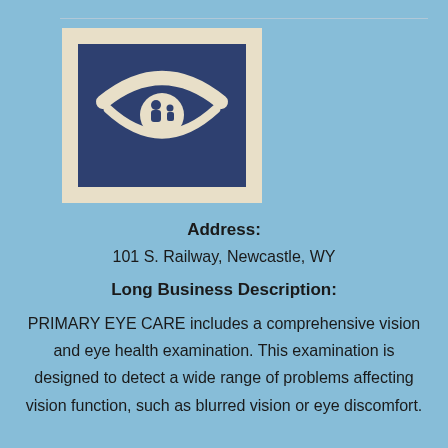[Figure (logo): Eye care logo: dark blue square with decorative beige border corners, featuring a stylized eye with a white curved eyebrow/lash arc on top, and two small human figures (adult and child) inside the iris, all in white/cream on dark blue background.]
Address:
101 S. Railway, Newcastle, WY
Long Business Description:
PRIMARY EYE CARE includes a comprehensive vision and eye health examination. This examination is designed to detect a wide range of problems affecting vision function, such as blurred vision or eye discomfort.